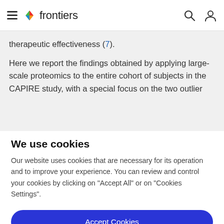frontiers
therapeutic effectiveness (7).
Here we report the findings obtained by applying large-scale proteomics to the entire cohort of subjects in the CAPIRE study, with a special focus on the two outlier
We use cookies
Our website uses cookies that are necessary for its operation and to improve your experience. You can review and control your cookies by clicking on "Accept All" or on "Cookies Settings".
Accept Cookies
Cookies Settings